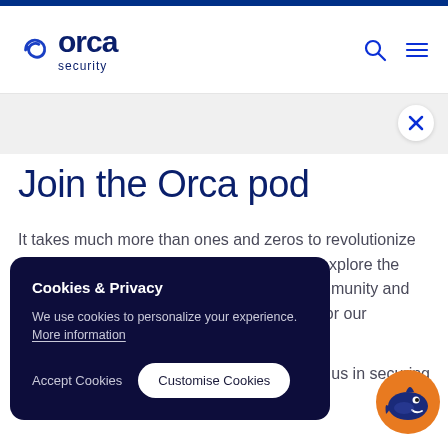[Figure (logo): Orca Security logo with stylized orca icon and text 'orca security']
[Figure (screenshot): Navigation header with search icon and hamburger menu icon]
Join the Orca pod
It takes much more than ones and zeros to revolutionize cloud security. It takes people who dare to explore the unknown. At Orca, we foster a sense of community and collaboration to create a safe environment for our [obscured by cookie banner] in us in securing
Cookies & Privacy
We use cookies to personalize your experience. More information
Accept Cookies   Customise Cookies
[Figure (illustration): Orca mascot — cartoon orca fish character in orange circle]